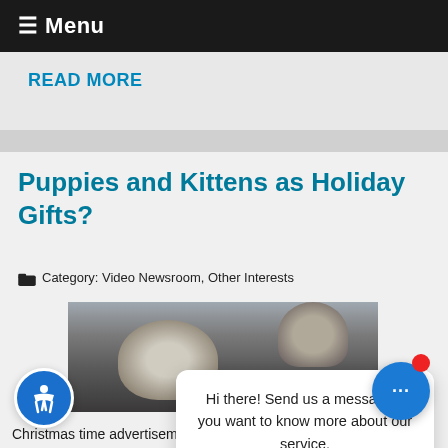≡ Menu
READ MORE
Puppies and Kittens as Holiday Gifts?
Category: Video Newsroom, Other Interests
[Figure (photo): Photo of puppies and/or kittens]
Hi there! Send us a message if you want to know more about our service.
Christmas time advertisements often picture a happy family with a bright eyed, ribbon adorned puppy licking the children's faces. But, is giving a pet a likely to create a winter wonderland or a potential blue Christmas? It may be an honored and even